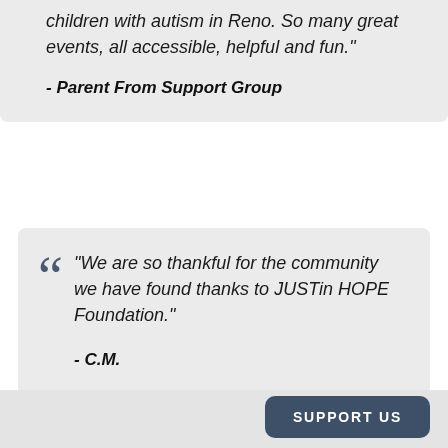children with autism in Reno. So many great events, all accessible, helpful and fun."
- Parent From Support Group
"We are so thankful for the community we have found thanks to JUSTin HOPE Foundation."
- C.M.
SUPPORT US